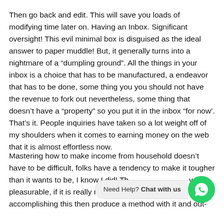Then go back and edit. This will save you loads of modifying time later on. Having an Inbox. Significant oversight! This evil minimal box is disguised as the ideal answer to paper muddle! But, it generally turns into a nightmare of a “dumpling ground”. All the things in your inbox is a choice that has to be manufactured, a endeavor that has to be done, some thing you you should not have the revenue to fork out nevertheless, some thing that doesn’t have a “property” so you put it in the inbox “for now’. That’s it. People inquiries have taken so a lot weight off of my shoulders when it comes to earning money on the web that it is almost effortless now.
Mastering how to make income from household doesn’t have to be difficult, folks have a tendency to make it tougher than it wants to be, I know I did! Th                                        y pleasurable, if it is really no:                                   ce accomplishing this then produce a method with it and out-